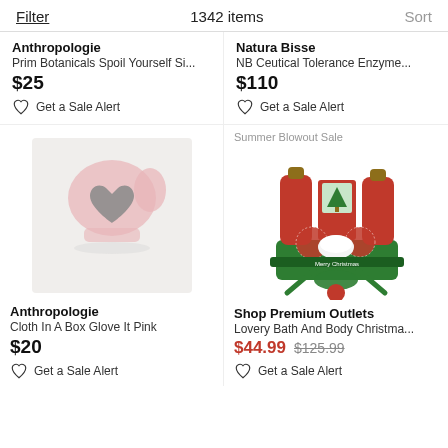Filter   1342 items   Sort
Anthropologie
Prim Botanicals Spoil Yourself Si...
$25
Get a Sale Alert
Natura Bisse
NB Ceutical Tolerance Enzyme...
$110
Get a Sale Alert
[Figure (photo): Pink cloth glove with grey pumice stone heart shape, shown on white background]
Anthropologie
Cloth In A Box Glove It Pink
$20
Get a Sale Alert
[Figure (photo): Christmas gift basket with red bottles, bath bombs, and green ribbon labeled Merry Christmas]
Shop Premium Outlets
Lovery Bath And Body Christma...
$44.99  $125.99
Get a Sale Alert